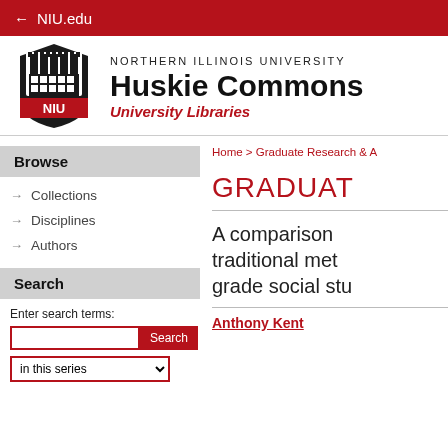← NIU.edu
[Figure (logo): NIU shield logo with castle tower and red banner]
NORTHERN ILLINOIS UNIVERSITY Huskie Commons University Libraries
Home > Graduate Research & A
Browse
→ Collections
→ Disciplines
→ Authors
Search
Enter search terms:
GRADUAT
A comparison traditional met grade social stu
Anthony Kent